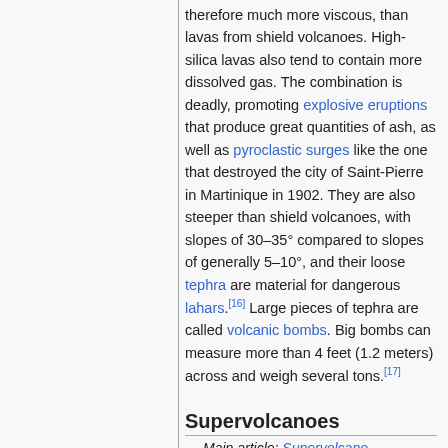therefore much more viscous, than lavas from shield volcanoes. High-silica lavas also tend to contain more dissolved gas. The combination is deadly, promoting explosive eruptions that produce great quantities of ash, as well as pyroclastic surges like the one that destroyed the city of Saint-Pierre in Martinique in 1902. They are also steeper than shield volcanoes, with slopes of 30–35° compared to slopes of generally 5–10°, and their loose tephra are material for dangerous lahars.[16] Large pieces of tephra are called volcanic bombs. Big bombs can measure more than 4 feet (1.2 meters) across and weigh several tons.[17]
Supervolcanoes
Main article: Supervolcano